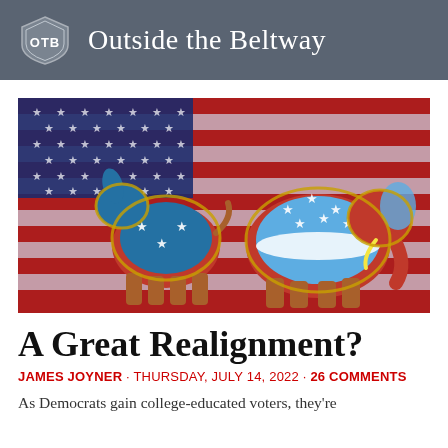Outside the Beltway
[Figure (photo): 3D rendered Democratic donkey and Republican elephant symbols in red, white, and blue, posed facing each other against an American flag background]
A Great Realignment?
JAMES JOYNER · THURSDAY, JULY 14, 2022 · 26 COMMENTS
As Democrats gain college-educated voters, they're